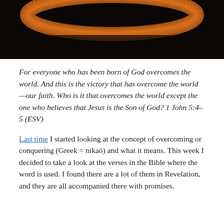[Figure (photo): Dark photograph showing a curved arc or crown-like object (possibly a crown of thorns) with warm orange-brown tones against a black background, partially cropped at top of page.]
For everyone who has been born of God overcomes the world. And this is the victory that has overcome the world—our faith. Who is it that overcomes the world except the one who believes that Jesus is the Son of God? 1 John 5:4–5 (ESV)
Last time I started looking at the concept of overcoming or conquering (Greek = nikaó) and what it means. This week I decided to take a look at the verses in the Bible where the word is used. I found there are a lot of them in Revelation, and they are all accompanied there with promises.